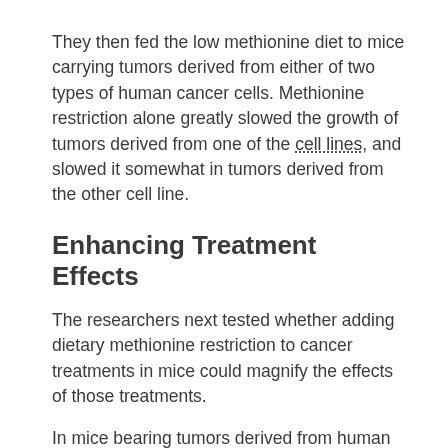They then fed the low methionine diet to mice carrying tumors derived from either of two types of human cancer cells. Methionine restriction alone greatly slowed the growth of tumors derived from one of the cell lines, and slowed it somewhat in tumors derived from the other cell line.
Enhancing Treatment Effects
The researchers next tested whether adding dietary methionine restriction to cancer treatments in mice could magnify the effects of those treatments.
In mice bearing tumors derived from human colorectal cancer, low doses of the DNA-damaging chemotherapy drug 5-fluorouracil (5-FU) failed to shrink the tumors. But when the mice were fed the methionine-restricted diet during 5-FU treatment, their tumors shrank. Analyses of metabolism showed that the production